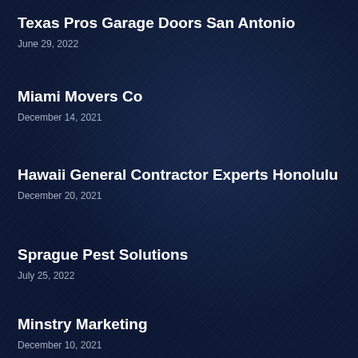Texas Pros Garage Doors San Antonio
June 29, 2022
Miami Movers Co
December 14, 2021
Hawaii General Contractor Experts Honolulu
December 20, 2021
Sprague Pest Solutions
July 25, 2022
Minstry Marketing
December 10, 2021